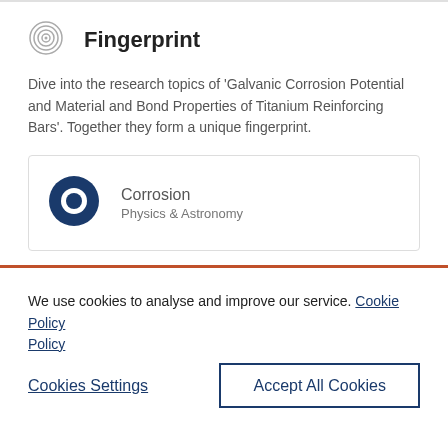Fingerprint
Dive into the research topics of 'Galvanic Corrosion Potential and Material and Bond Properties of Titanium Reinforcing Bars'. Together they form a unique fingerprint.
[Figure (infographic): Corrosion donut chart showing 100% - Physics & Astronomy category]
We use cookies to analyse and improve our service. Cookie Policy
Cookies Settings
Accept All Cookies